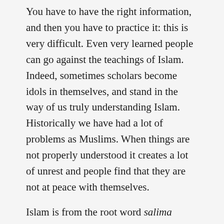You have to have the right information, and then you have to practice it: this is very difficult. Even very learned people can go against the teachings of Islam. Indeed, sometimes scholars become idols in themselves, and stand in the way of us truly understanding Islam. Historically we have had a lot of problems as Muslims. When things are not properly understood it creates a lot of unrest and people find that they are not at peace with themselves.
Islam is from the root word salima which contains two meanings: safety and health. Hence Islam in its essence is the way to be safe and healthy, physically as well as spiritually. A Muslim is a person who aspires to the ideals of Islam. Hence a true Muslim is the one who struggles to tread the path of safety and health at all